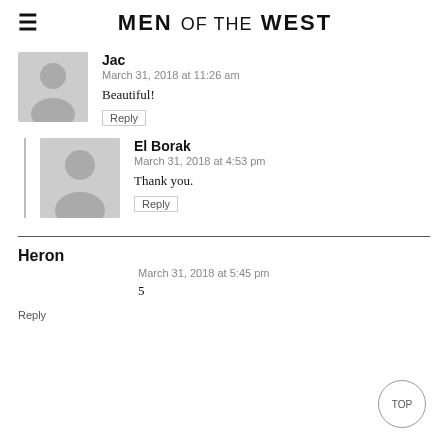MEN OF THE WEST
Jac
March 31, 2018 at 11:26 am
Beautiful!
Reply
El Borak
March 31, 2018 at 4:53 pm
Thank you.
Reply
Heron
March 31, 2018 at 5:45 pm
5
Reply